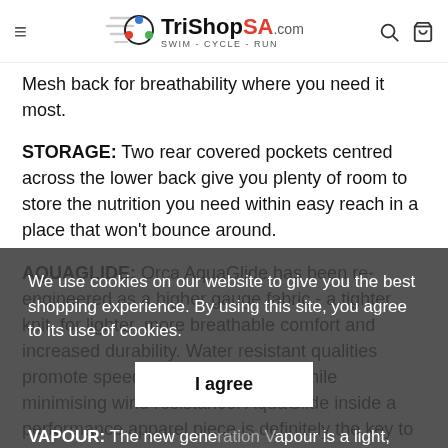TriShopSA.com SWIM · CYCLE · RUN
Mesh back for breathability where you need it most.
STORAGE: Two rear covered pockets centred across the lower back give you plenty of room to store the nutrition you need within easy reach in a place that won't bounce around.
AQUAGLIDE: Orca AquaGlide has been re-engineered as a higher gauge fabric - a tighter knit, for lighter, more breathable comfort and increased durability. Water resistant qualities promote speed through the water, while minimising wind resistance. AquaGlide inside a performance apparel piece is definitely the key to comfort.
We use cookies on our website to give you the best shopping experience. By using this site, you agree to its use of cookies.
VAPOUR: The new generation Vapour is a light, breathable fabric used in key moisture transfer panels of